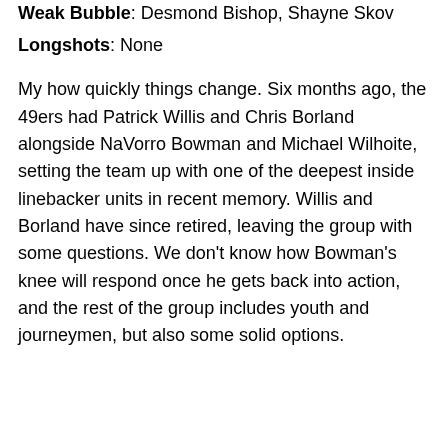Weak Bubble: Desmond Bishop, Shayne Skov
Longshots: None
My how quickly things change. Six months ago, the 49ers had Patrick Willis and Chris Borland alongside NaVorro Bowman and Michael Wilhoite, setting the team up with one of the deepest inside linebacker units in recent memory. Willis and Borland have since retired, leaving the group with some questions. We don't know how Bowman's knee will respond once he gets back into action, and the rest of the group includes youth and journeymen, but also some solid options.